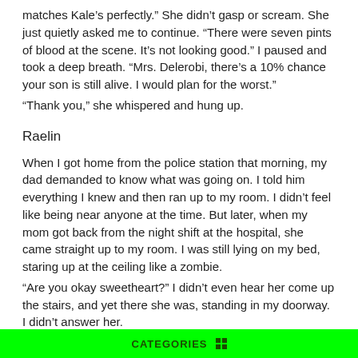matches Kale’s perfectly.” She didn’t gasp or scream. She just quietly asked me to continue. “There were seven pints of blood at the scene. It’s not looking good.” I paused and took a deep breath. “Mrs. Delerobi, there’s a 10% chance your son is still alive. I would plan for the worst.”
“Thank you,” she whispered and hung up.
Raelin
When I got home from the police station that morning, my dad demanded to know what was going on. I told him everything I knew and then ran up to my room. I didn’t feel like being near anyone at the time. But later, when my mom got back from the night shift at the hospital, she came straight up to my room. I was still lying on my bed, staring up at the ceiling like a zombie.
“Are you okay sweetheart?” I didn’t even hear her come up the stairs, and yet there she was, standing in my doorway. I didn’t answer her.
Then my cell started to ring.
I came to life and answered it on the second ring. I held it to my ear
CATEGORIES